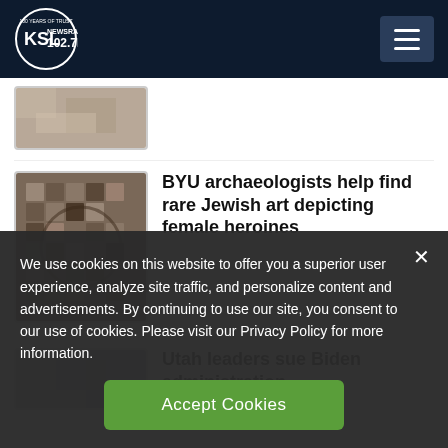[Figure (logo): KSL NewsRadio 102.7FM logo with circle, 100 Years of Trust text]
[Figure (photo): Partial thumbnail image at top, partially cut off]
BYU archaeologists help find rare Jewish art depicting female heroines
Utah leaders sue Biden administration...
We use cookies on this website to offer you a superior user experience, analyze site traffic, and personalize content and advertisements. By continuing to use our site, you consent to our use of cookies. Please visit our Privacy Policy for more information.
Accept Cookies